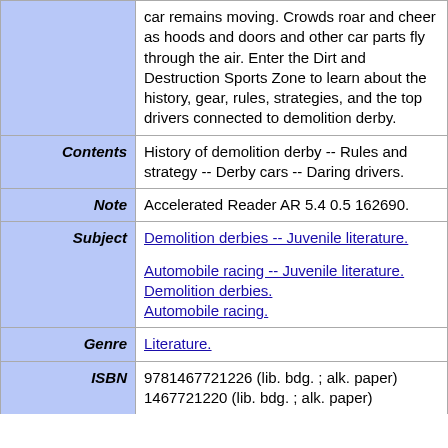| Field | Value |
| --- | --- |
|  | car remains moving. Crowds roar and cheer as hoods and doors and other car parts fly through the air. Enter the Dirt and Destruction Sports Zone to learn about the history, gear, rules, strategies, and the top drivers connected to demolition derby. |
| Contents | History of demolition derby -- Rules and strategy -- Derby cars -- Daring drivers. |
| Note | Accelerated Reader AR 5.4 0.5 162690. |
| Subject | Demolition derbies -- Juvenile literature.
Automobile racing -- Juvenile literature.
Demolition derbies.
Automobile racing. |
| Genre | Literature. |
| ISBN | 9781467721226 (lib. bdg. ; alk. paper)
1467721220 (lib. bdg. ; alk. paper) |